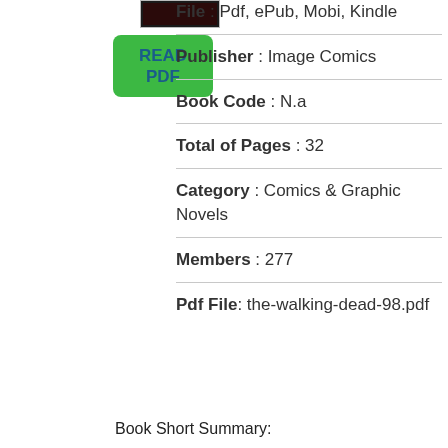[Figure (illustration): Small book cover thumbnail image with dark background]
[Figure (other): Green READ PDF button]
File : Pdf, ePub, Mobi, Kindle
Publisher : Image Comics
Book Code : N.a
Total of Pages : 32
Category : Comics & Graphic Novels
Members : 277
Pdf File: the-walking-dead-98.pdf
Book Short Summary: